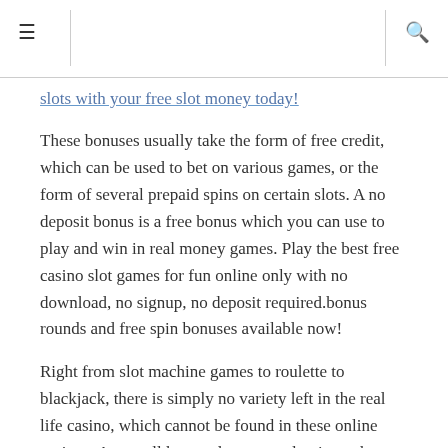slots with your free slot money today!
These bonuses usually take the form of free credit, which can be used to bet on various games, or the form of several prepaid spins on certain slots. A no deposit bonus is a free bonus which you can use to play and win in real money games. Play the best free casino slot games for fun online only with no download, no signup, no deposit required.bonus rounds and free spin bonuses available now!
Right from slot machine games to roulette to blackjack, there is simply no variety left in the real life casino, which cannot be found in these online casinos. As we all know, slot games dominate the casino games world so it makes sense that a bonus that is designed specifically for slot machines should be the most